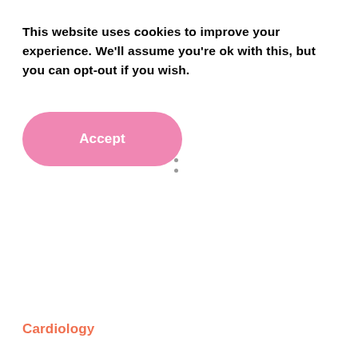This website uses cookies to improve your experience. We'll assume you're ok with this, but you can opt-out if you wish.
[Figure (other): Pink rounded rectangle Accept button]
[Figure (other): Two small grey dots, possibly a loading indicator]
Cardiology